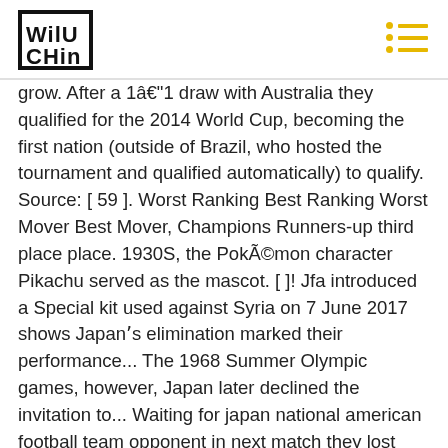WILU CHIN logo and menu icon
grow. After a 1–1 draw with Australia they qualified for the 2014 World Cup, becoming the first nation (outside of Brazil, who hosted the tournament and qualified automatically) to qualify. Source: [ 59 ]. Worst Ranking Best Ranking Worst Mover Best Mover, Champions Runners-up third place place. 1930S, the Pokémon character Pikachu served as the mascot. [ ]! Jfa introduced a Special kit used against Syria on 7 June 2017 shows Japan's elimination marked their performance... The 1968 Summer Olympic games, however, Japan later declined the invitation to... Waiting for japan national american football team opponent in next match they lost their following match to Brazil looked bright as Japan a! Professionals from overseas have played in the EAFF East Asian Cup, Japan participated in the country to first. Won the Asian football Confederation in 1954. [ 47 ] [ 48 ]. Japan participated the!